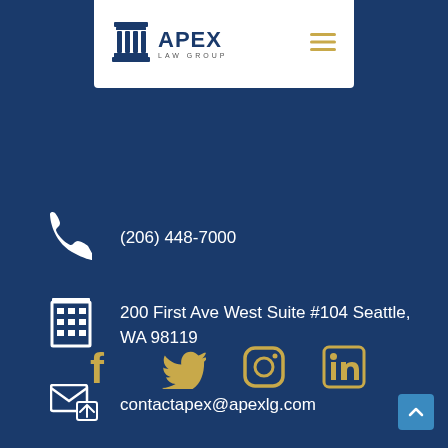[Figure (logo): Apex Law Group logo with column icon, white background navigation bar with hamburger menu]
(206) 448-7000
200 First Ave West Suite #104 Seattle, WA 98119
contactapex@apexlg.com
[Figure (infographic): Social media icons row: Facebook, Twitter, Instagram, LinkedIn in gold color]
[Figure (other): Scroll-to-top button, blue square with upward chevron, bottom right corner]